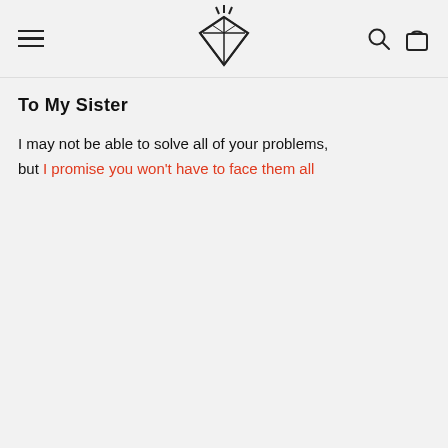[Figure (logo): Diamond-shaped geometric logo with star burst on top, centered in navigation header]
To My Sister
I may not be able to solve all of your problems, but I promise you won't have to face them all